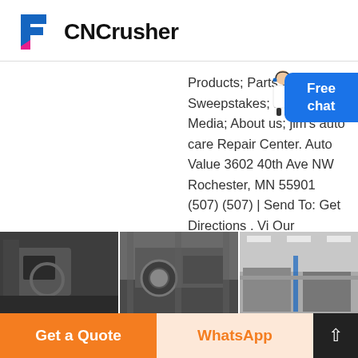[Figure (logo): CNCrusher logo with stylized F icon in blue and pink/magenta]
Products; Parts Catalog; Sweepstakes; News Media; About us; jim's auto care Repair Center. Auto Value 3602 40th Ave NW Rochester, MN 55901 (507) (507) | Send To: Get Directions . Visit Our Website. Service .
GET PRICE >
[Figure (photo): Strip of three factory/industrial photos showing crusher machinery and manufacturing facility interior]
Get a Quote
WhatsApp